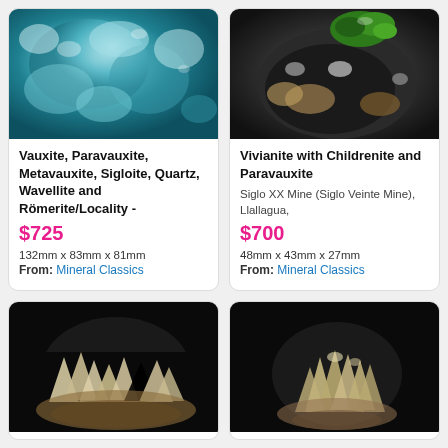[Figure (photo): Teal/blue-green mineral specimen photo (Vauxite, Paravauxite, Metavauxite, Sigloite, Quartz, Wavellite and Römerite)]
Vauxite, Paravauxite, Metavauxite, Sigloite, Quartz, Wavellite and Römerite/Locality -
$725
132mm x 83mm x 81mm
From: Mineral Classics
[Figure (photo): Dark mineral specimen with green vivianite crystals photo (Vivianite with Childrenite and Paravauxite)]
Vivianite with Childrenite and Paravauxite
Siglo XX Mine (Siglo Veinte Mine), Llallagua,
$700
48mm x 43mm x 27mm
From: Mineral Classics
[Figure (photo): Cream/tan mineral specimen on black background (bottom left card, partially visible)]
[Figure (photo): Tan/beige mineral specimen on black background (bottom right card, partially visible)]